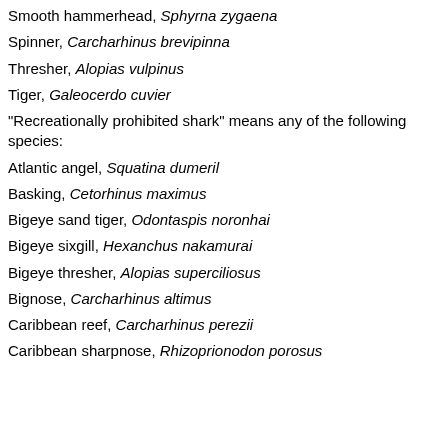Smooth hammerhead, Sphyrna zygaena
Spinner, Carcharhinus brevipinna
Thresher, Alopias vulpinus
Tiger, Galeocerdo cuvier
"Recreationally prohibited shark" means any of the following species:
Atlantic angel, Squatina dumeril
Basking, Cetorhinus maximus
Bigeye sand tiger, Odontaspis noronhai
Bigeye sixgill, Hexanchus nakamurai
Bigeye thresher, Alopias superciliosus
Bignose, Carcharhinus altimus
Caribbean reef, Carcharhinus perezii
Caribbean sharpnose, Rhizoprionodon porosus